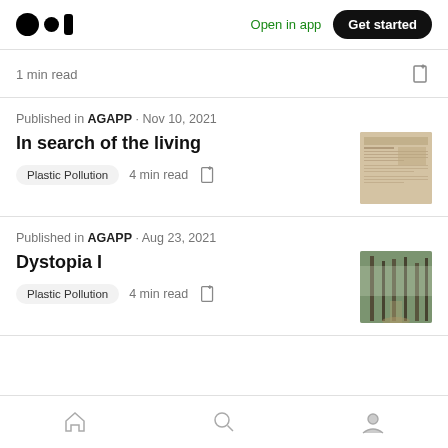Medium logo | Open in app | Get started
1 min read
Published in AGAPP · Nov 10, 2021
In search of the living
Plastic Pollution  4 min read
[Figure (photo): Newspaper clipping thumbnail for article 'In search of the living']
Published in AGAPP · Aug 23, 2021
Dystopia I
Plastic Pollution  4 min read
[Figure (photo): Forest path photo thumbnail for article 'Dystopia I']
Home | Search | Profile